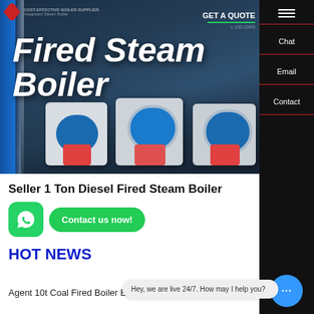[Figure (screenshot): Screenshot of a boiler supplier website hero section showing industrial gas/diesel fired steam boilers with dark blue/grey background. Includes company logo, navigation, and hero image of white industrial boiler machines.]
Fired Steam Boiler
COST-EFFECTIVE BOILER SUPPLIER
GET A QUOTE
Seller 1 Ton Diesel Fired Steam Boiler
Contact us now!
HOT NEWS
Hey, we are live 24/7. How may I help you?
Agent 10t Coal Fired Boiler Estonia
Chat
Email
Contact